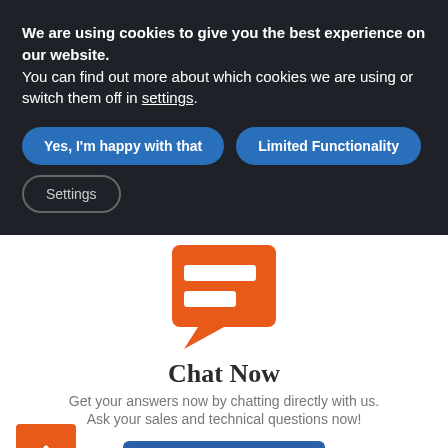We are using cookies to give you the best experience on our website.
You can find out more about which cookies we are using or switch them off in settings.
Yes, I'm happy with that
Limited Functionality
Settings
[Figure (logo): Orange speech bubble icon with two white horizontal bars inside]
Chat Now
Get your answers now by chatting directly with us.
Ask your sales and technical questions now!
Start Chat
Message